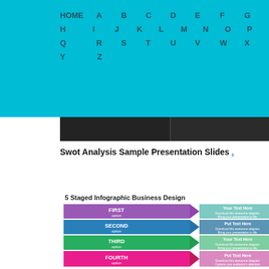HOME A B C D E F G H I J K L M N O P Q R S T U V W X Y Z
[Figure (screenshot): Dark banner with two panels separated by a vertical line]
Swot Analysis Sample Presentation Slides .
[Figure (infographic): 5 Staged Infographic Business Design showing FIRST, SECOND, THIRD, FOURTH options with arrow chevron shapes in purple, dark blue, teal, and pink colors]